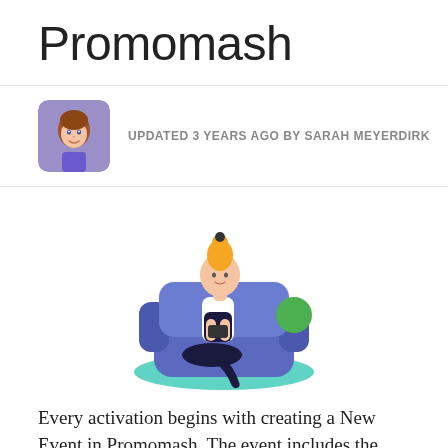Promomash
UPDATED 3 YEARS AGO BY SARAH MEYERDIRK
[Figure (illustration): Cartoon illustration of a woman with blonde hair in a bun, sitting cross-legged on a blue armchair, holding a phone, with a green circular object on the armrest. The chair sits on a teal oval shadow.]
Every activation begins with creating a New Event in Promomash. The event includes the date, time, duration, location and Brand Ambassador (BA) information.